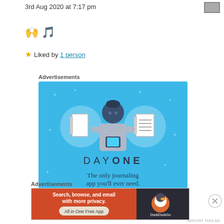3rd Aug 2020 at 7:17 pm
🙌 🎵
★ Liked by 1 person
Advertisements
[Figure (illustration): Day One app advertisement: blue background with illustration of a person holding a phone, flanked by notebook icons in circles. Text reads 'DAY ONE - The only journaling app you'll ever need.' with a 'Get the app' button.]
Advertisements
[Figure (illustration): DuckDuckGo advertisement: orange left panel with text 'Search, browse, and email with more privacy. All in One Free App', dark right panel with DuckDuckGo duck logo.]